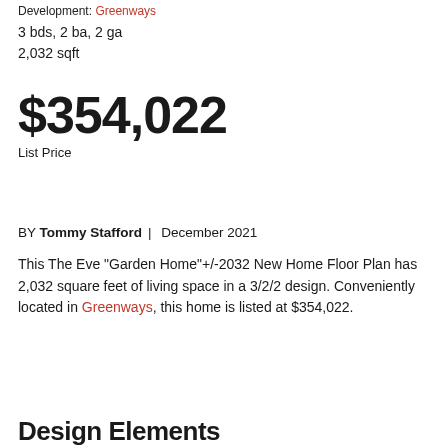Development: Greenways
3 bds, 2 ba, 2 ga
2,032 sqft
$354,022
List Price
BY Tommy Stafford | December 2021
This The Eve "Garden Home"+/-2032 New Home Floor Plan has 2,032 square feet of living space in a 3/2/2 design. Conveniently located in Greenways, this home is listed at $354,022.
Design Elements